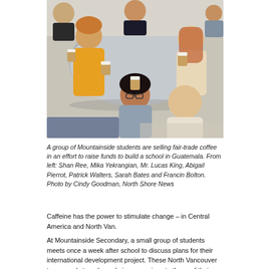[Figure (photo): Group of students sitting around a round table, each holding up paper coffee cups, smiling at the camera. The students appear to be in a school cafeteria or common area.]
A group of Mountainside students are selling fair-trade coffee in an effort to raise funds to build a school in Guatemala. From left: Shan Ree, Mika Yekrangian, Mr. Lucas King, Abigail Pierrot, Patrick Walters, Sarah Bates and Francin Bolton. Photo by Cindy Goodman, North Shore News
Caffeine has the power to stimulate change – in Central America and North Van.
At Mountainside Secondary, a small group of students meets once a week after school to discuss plans for their international development project. These North Vancouver teenagers' struggles pale in comparison to those of their